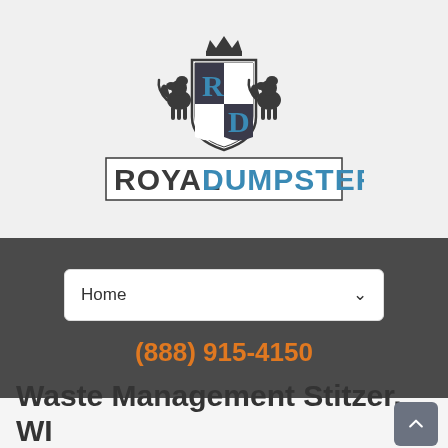[Figure (logo): Royal Dumpster logo with heraldic crest featuring two lions flanking a shield with R and D letters, crown on top. Below the crest: 'ROYAL DUMPSTER' in large letters, ROYAL in dark gray and DUMPSTER in blue.]
Home
(888) 915-4150
Waste Management Stitzer, WI